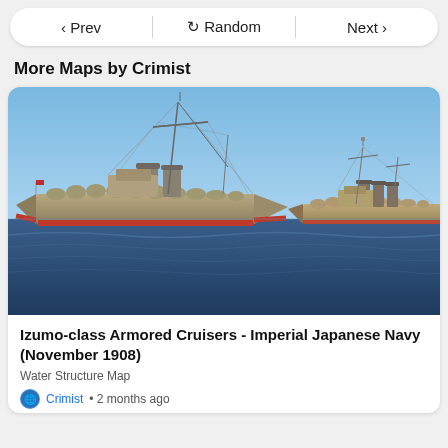< Prev   Random   Next >
More Maps by Crimist
[Figure (screenshot): 3D rendered scene showing two Izumo-class Armored Cruisers of the Imperial Japanese Navy on a blue ocean under a blue sky. The left ship is larger and closer, showing detailed hull armor with a red waterline, masts with rigging, and funnels. The right ship is smaller/farther, showing similar features.]
Izumo-class Armored Cruisers - Imperial Japanese Navy (November 1908)
Water Structure Map
Crimist • 2 months ago